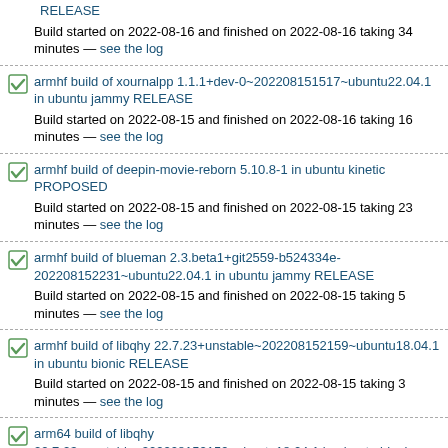RELEASE
Build started on 2022-08-16 and finished on 2022-08-16 taking 34 minutes — see the log
armhf build of xournalpp 1.1.1+dev-0~202208151517~ubuntu22.04.1 in ubuntu jammy RELEASE
Build started on 2022-08-15 and finished on 2022-08-16 taking 16 minutes — see the log
armhf build of deepin-movie-reborn 5.10.8-1 in ubuntu kinetic PROPOSED
Build started on 2022-08-15 and finished on 2022-08-15 taking 23 minutes — see the log
armhf build of blueman 2.3.beta1+git2559-b524334e-202208152231~ubuntu22.04.1 in ubuntu jammy RELEASE
Build started on 2022-08-15 and finished on 2022-08-15 taking 5 minutes — see the log
armhf build of libqhy 22.7.23+unstable~202208152159~ubuntu18.04.1 in ubuntu bionic RELEASE
Build started on 2022-08-15 and finished on 2022-08-15 taking 3 minutes — see the log
arm64 build of libqhy 22.7.23+unstable~202208152159~ubuntu18.04.1 in ubuntu bionic RELEASE
Build started on 2022-08-15 and finished on 2022-08-15 taking 3 minutes — see the log